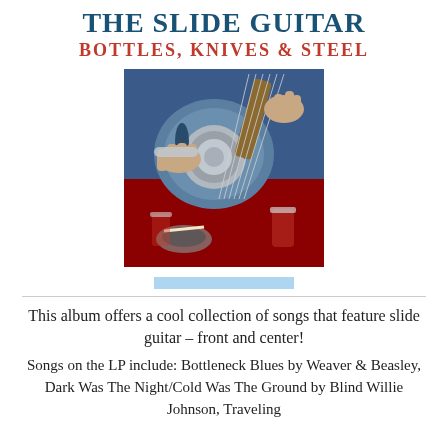THE SLIDE GUITAR
BOTTLES, KNIVES & STEEL
[Figure (photo): Album cover photo showing a resonator guitar being played with a slide, with a red tablecloth background, glasses, and an ashtray on the table]
This album offers a cool collection of songs that feature slide guitar – front and center!
Songs on the LP include: Bottleneck Blues by Weaver & Beasley, Dark Was The Night/Cold Was The Ground by Blind Willie Johnson, Traveling